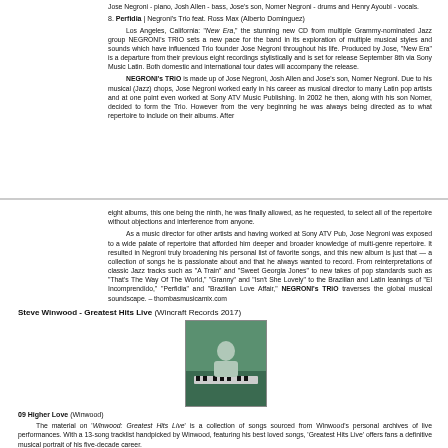Jose Negroni - piano, Josh Allen - bass, Jose's son, Nomer Negroni - drums and Henry Ayoubi - vocals.
8. Perfidia | Negroni's Trio feat. Ross Max (Alberto Dominguez)
Los Angeles, California: "New Era," the stunning new CD from multiple Grammy-nominated Jazz group NEGRONI's TRIO sets a new pace for the band in its exploration of multiple musical styles and sounds which have influenced Trio founder Jose Negroni throughout his life. Produced by Jose, "New Era" is a departure from their previous eight recordings stylistically and is set for release September 8th via Sony Music Latin. Both domestic and international tour dates will accompany the release.
NEGRONI's TRiO is made up of Jose Negroni, Josh Allen and Jose's son, Nomer Negroni. Due to his musical (Jazz) chops, Jose Negroni worked early in his career as musical director to many Latin pop artists and at one point even worked at Sony ATV Music Publishing. In 2002 he then, along with his son Nomer, decided to form the Trio. However from the very beginning he was always being directed as to what repertoire to include on their albums. After
eight albums, this one being the ninth, he was finally allowed, as he requested, to select all of the repertoire without objections and interference from anyone.
As a music director for other artists and having worked at Sony ATV Pub, Jose Negroni was exposed to a wide palate of repertoire that afforded him deeper and broader knowledge of multi-genre repertoire. It resulted in Negroni truly broadening his personal list of favorite songs, and this new album is just that — a collection of songs he is passionate about and that he always wanted to record. From reinterpretations of classic Jazz tracks such as "A Train" and "Sweet Georgia Jones" to new takes of pop standards such as "That's The Way Of The World," "Granny" and "Isn't She Lovely" to the Brazilian and Latin leanings of "El Incomprendido," "Perfidia" and "Brazilian Love Affair," NEGRONI's TRiO traverses the global musical soundscape. – thombasmusicamix.com
Steve Winwood - Greatest Hits Live (Wincraft Records 2017)
[Figure (photo): Album cover photo showing a person at a keyboard/piano instrument, with green/dark teal background tones]
09 Higher Love (Winwood)
The material on 'Winwood: Greatest Hits Live' is a collection of songs sourced from Winwood's personal archives of live performances. With a 13-song tracklist handpicked by Winwood, featuring his best loved songs, 'Greatest Hits Live' offers fans a definitive musical portrait of his five-decade career.